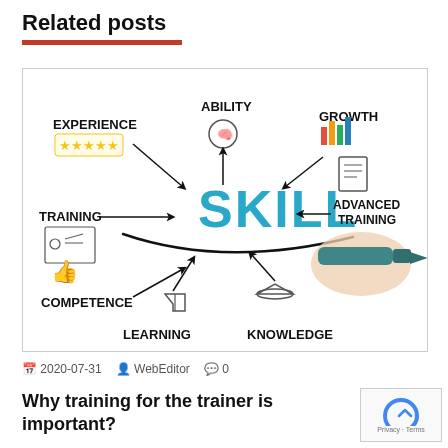Related posts
[Figure (illustration): Skill mind-map illustration showing SKILL in center with surrounding concepts: Experience, Ability, Growth, Advanced Training, Knowledge, Learning, Competence, Training, with icons and arrows. A hand holding a marker writes the word SKILL.]
2020-07-31  WebEditor  0
Why training for the trainer is important?